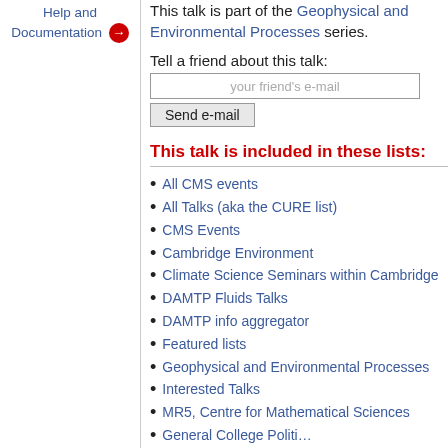Help and Documentation →
This talk is part of the Geophysical and Environmental Processes series.
Tell a friend about this talk:
This talk is included in these lists:
All CMS events
All Talks (aka the CURE list)
CMS Events
Cambridge Environment
Climate Science Seminars within Cambridge
DAMTP Fluids Talks
DAMTP info aggregator
Featured lists
Geophysical and Environmental Processes
Interested Talks
MR5, Centre for Mathematical Sciences
General College Politics…